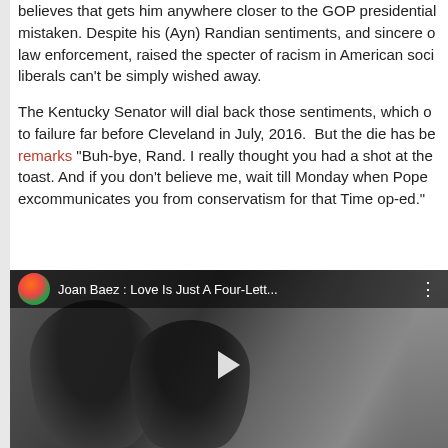believes that gets him anywhere closer to the GOP presidential... mistaken. Despite his (Ayn) Randian sentiments, and sincere o... law enforcement, raised the specter of racism in American soci... liberals can't be simply wished away.
The Kentucky Senator will dial back those sentiments, which o... to failure far before Cleveland in July, 2016.  But the die has be... remarks "Buh-bye, Rand. I really thought you had a shot at the... toast. And if you don't believe me, wait till Monday when Pope ... excommunicates you from conservatism for that Time op-ed."
[Figure (screenshot): Embedded YouTube video player showing Joan Baez : Love Is Just A Four-Lett... with a dark grayscale thumbnail of two figures and an orange/red channel icon]